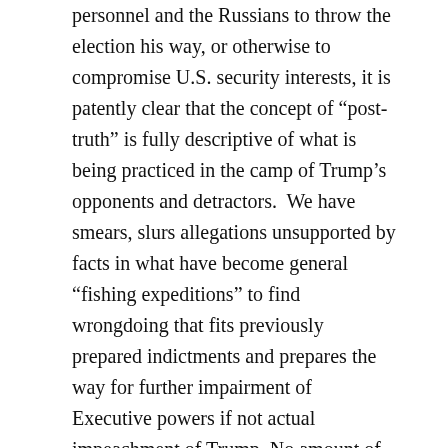personnel and the Russians to throw the election his way, or otherwise to compromise U.S. security interests, it is patently clear that the concept of “post-truth” is fully descriptive of what is being practiced in the camp of Trump’s opponents and detractors.  We have smears, slurs allegations unsupported by facts in what have become general “fishing expeditions” to find wrongdoing that fits previously prepared indictments and prepares the way for further impairment of Executive powers if not actual impeachment of Trump. No amount of factual counter-argument by the minority of experts and politicians daring to stand up to the mob on Capitol Hill aided and abetted by mainstream media counts for anything.
However, it would be a mistake to allow our